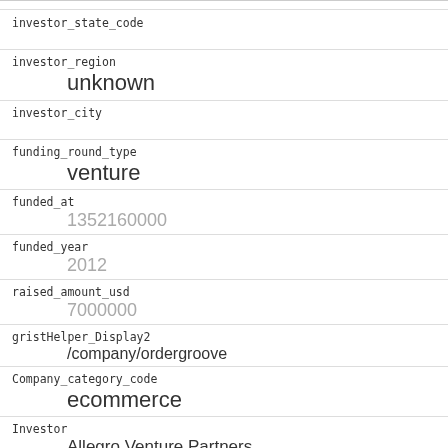investor_state_code
investor_region
unknown
investor_city
funding_round_type
venture
funded_at
1352160000
funded_year
2012
raised_amount_usd
7000000
gristHelper_Display2
/company/ordergroove
Company_category_code
ecommerce
Investor
Allegro Venture Partners